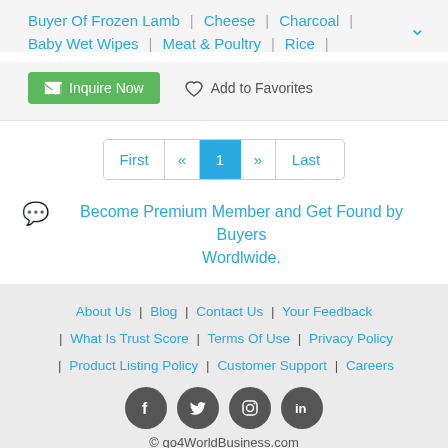Buyer Of Frozen Lamb | Cheese | Charcoal | Baby Wet Wipes | Meat & Poultry | Rice |
Inquire Now   Add to Favorites
First « 1 » Last
Become Premium Member and Get Found by Buyers Wordlwide.
About Us | Blog | Contact Us | Your Feedback | What Is Trust Score | Terms Of Use | Privacy Policy | Product Listing Policy | Customer Support | Careers
© go4WorldBusiness.com